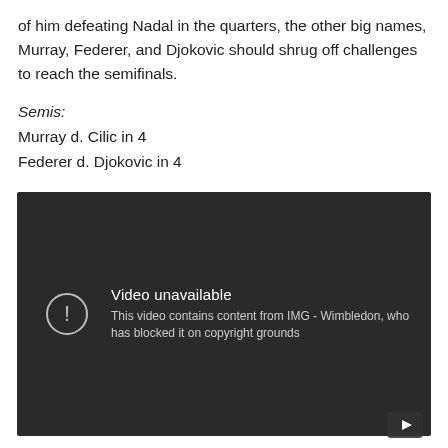of him defeating Nadal in the quarters, the other big names, Murray, Federer, and Djokovic should shrug off challenges to reach the semifinals.
Semis:
Murray d. Cilic in 4
Federer d. Djokovic in 4
[Figure (screenshot): YouTube video unavailable message on dark background. Text reads: 'Video unavailable. This video contains content from IMG - Wimbledon, who has blocked it on copyright grounds.' YouTube play button icon in bottom right corner.]